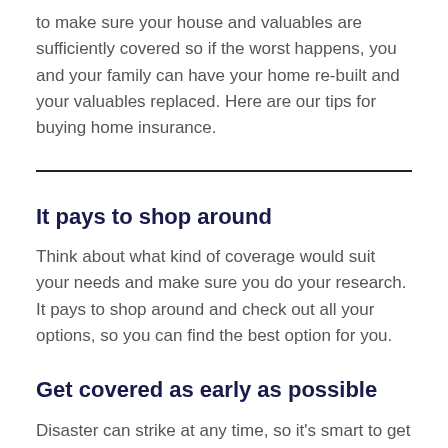to make sure your house and valuables are sufficiently covered so if the worst happens, you and your family can have your home re-built and your valuables replaced. Here are our tips for buying home insurance.
It pays to shop around
Think about what kind of coverage would suit your needs and make sure you do your research. It pays to shop around and check out all your options, so you can find the best option for you.
Get covered as early as possible
Disaster can strike at any time, so it's smart to get your